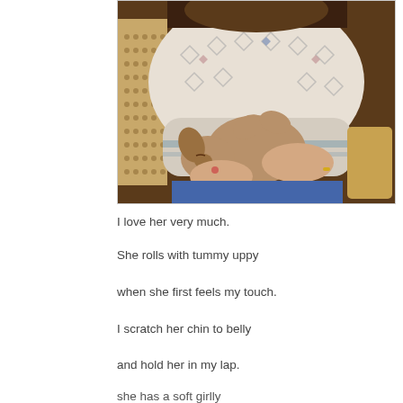[Figure (photo): A person holding a small dog on their lap, the dog lying on its back with tummy up. The person is wearing a patterned sweater and jeans, seated in a cane-back chair.]
I love her very much.
She rolls with tummy uppy
when she first feels my touch.
I scratch her chin to belly
and hold her in my lap.
she has a soft girlly